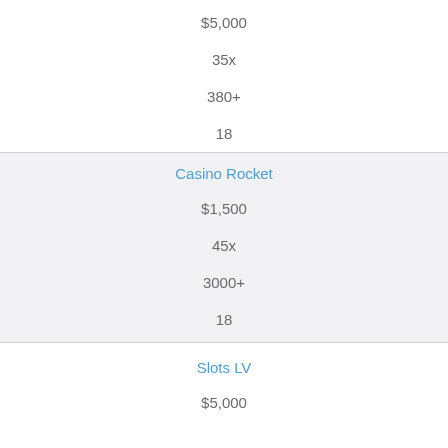$5,000
35x
380+
18
Casino Rocket
$1,500
45x
3000+
18
Slots LV
$5,000